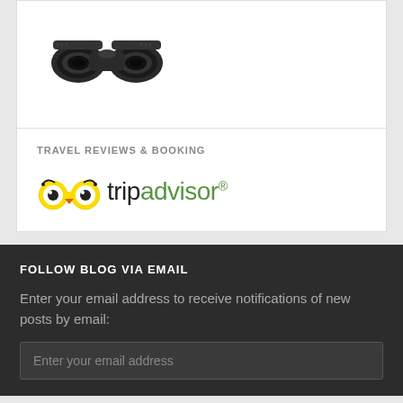[Figure (photo): Black binoculars product image on white background]
TRAVEL REVIEWS & BOOKING
[Figure (logo): TripAdvisor logo with owl icon and trip in black, advisor in green]
FOLLOW BLOG VIA EMAIL
Enter your email address to receive notifications of new posts by email:
Enter your email address